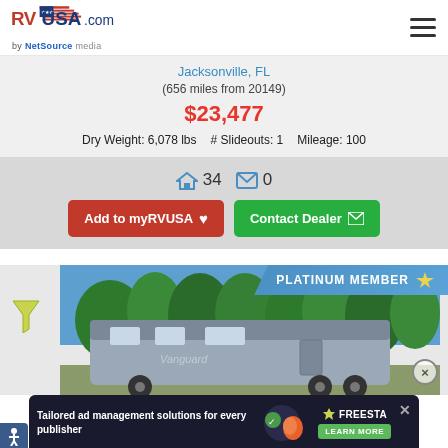RVUSA.com by NetSource media
Jacksonville, FL
(656 miles from 20149)
$23,477
Dry Weight: 6,078 lbs  # Slideouts: 1  Mileage: 100
34  0
Add to myRVUSA  Contact Dealer
[Figure (photo): RV motorhome parked outdoors with trees in background, Platinum Member badge overlay]
[Figure (screenshot): Advertisement banner: Tailored ad management solutions for every publisher - Freesta, Learn More button]